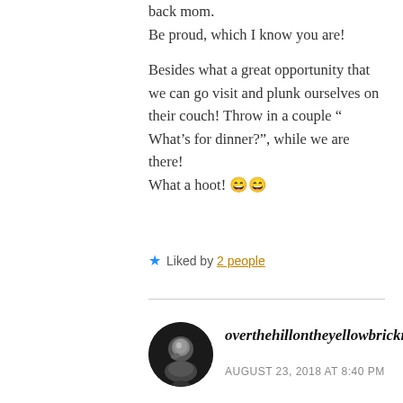back mom.
Be proud, which I know you are!

Besides what a great opportunity that we can go visit and plunk ourselves on their couch! Throw in a couple “ What’s for dinner?”, while we are there!
What a hoot! 😄😄
★ Liked by 2 people
[Figure (photo): Circular avatar photo of a woman in black and white]
overthehillontheyellowbrickroad
AUGUST 23, 2018 AT 8:40 PM